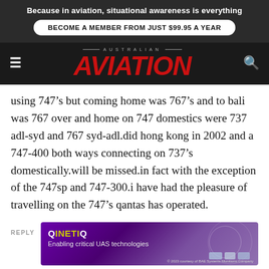Because in aviation, situational awareness is everything
BECOME A MEMBER FROM JUST $99.95 A YEAR
[Figure (logo): Australian Aviation logo with red italic bold AVIATION text on dark background]
using 747’s but coming home was 767’s and to bali was 767 over and home on 747 domestics were 737 adl-syd and 767 syd-adl.did hong kong in 2002 and a 747-400 both ways connecting on 737’s domestically.will be missed.in fact with the exception of the 747sp and 747-300.i have had the pleasure of travelling on the 747’s qantas has operated.
[Figure (infographic): QinetiQ advertisement banner: Enabling critical UAS technologies, purple gradient background with drone/vehicle imagery]